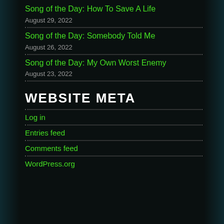Song of the Day: How To Save A Life
August 29, 2022
Song of the Day: Somebody Told Me
August 26, 2022
Song of the Day: My Own Worst Enemy
August 23, 2022
WEBSITE META
Log in
Entries feed
Comments feed
WordPress.org